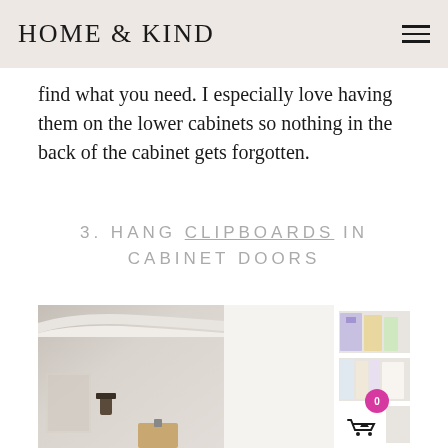HOME & KIND
find what you need. I especially love having them on the lower cabinets so nothing in the back of the cabinet gets forgotten.
3. HANG CLIPBOARDS IN CABINET DOORS
[Figure (photo): Two-panel composite photo: left panel shows a room corner with white crown molding; right panel shows white open shelving with binders and office supplies. A clipboard is partially visible at the bottom of the left panel. A shopping cart icon with a pink badge showing '0' is overlaid at the bottom right.]